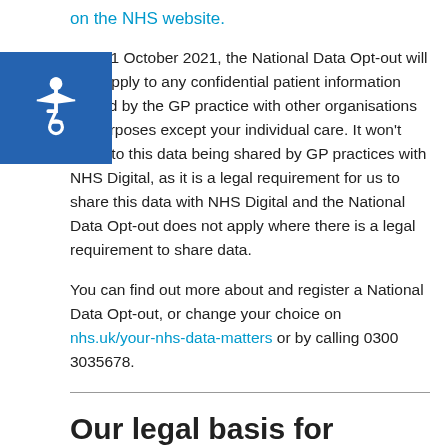on the NHS website.
From 1 October 2021, the National Data Opt-out will also apply to any confidential patient information shared by the GP practice with other organisations for purposes except your individual care. It won't apply to this data being shared by GP practices with NHS Digital, as it is a legal requirement for us to share this data with NHS Digital and the National Data Opt-out does not apply where there is a legal requirement to share data.
You can find out more about and register a National Data Opt-out, or change your choice on nhs.uk/your-nhs-data-matters or by calling 0300 3035678.
Our legal basis for sharing data with NHS